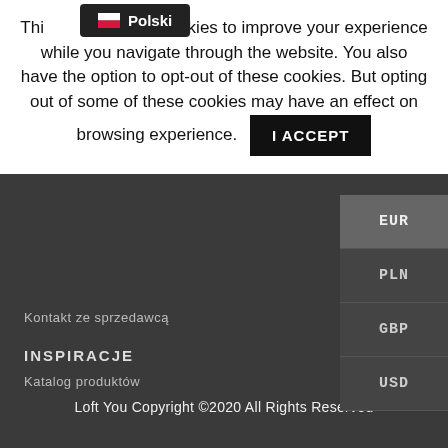This website uses cookies to improve your experience while you navigate through the website. You also have the option to opt-out of these cookies. But opting out of some of these cookies may have an effect on browsing experience. I ACCEPT
EUR
PLN
GBP
USD
Kontakt ze sprzedawcą
INSPIRACJE
Katalog produktów
Loft You Copyright ©2020 All Rights Reserved